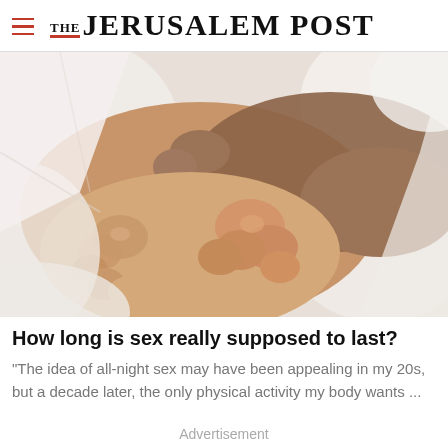THE JERUSALEM POST
[Figure (photo): Close-up photo of two pairs of feet intertwined under white bed sheets]
How long is sex really supposed to last?
"The idea of all-night sex may have been appealing in my 20s, but a decade later, the only physical activity my body wants ...
Advertisement